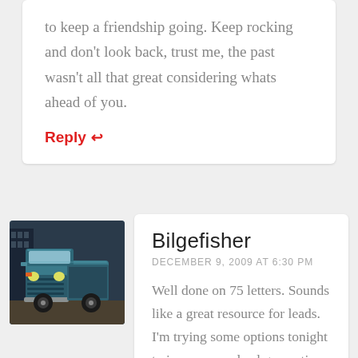to keep a friendship going. Keep rocking and don't look back, trust me, the past wasn't all that great considering whats ahead of you.
Reply ↩
[Figure (photo): Avatar image of a vintage teal/blue truck photographed from the front, slightly left angle]
Bilgefisher
DECEMBER 9, 2009 AT 6:30 PM
Well done on 75 letters. Sounds like a great resource for leads. I'm trying some options tonight to increase my lead generation.